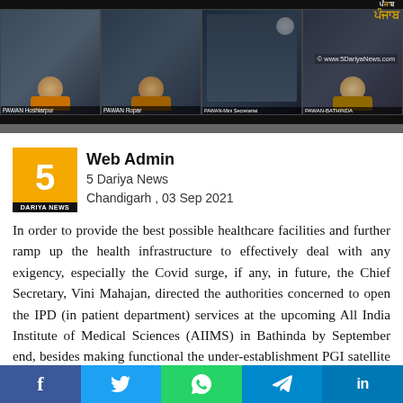[Figure (screenshot): Video conference screenshot showing multiple participants in a government meeting, with labels PAWAN Hoshiarpur, PAWAN Ropar, PAWAN-Mini Secretariat, PAWAN-BATHINDA, Punjab logo, and watermark © www.5DariyaNews.com]
Web Admin
5 Dariya News
Chandigarh , 03 Sep 2021
In order to provide the best possible healthcare facilities and further ramp up the health infrastructure to effectively deal with any exigency, especially the Covid surge, if any, in future, the Chief Secretary, Vini Mahajan, directed the authorities concerned to open the IPD (in patient department) services at the upcoming All India Institute of Medical Sciences (AIIMS) in Bathinda by September end, besides making functional the under-establishment PGI satellite centre in Sangrur by the October next.Chairing a high-level meeting here, the Chief Secretary was apprised that the construction work of PGI satellite centre in Ferozepur has been awarded last month and it will be completed within 39